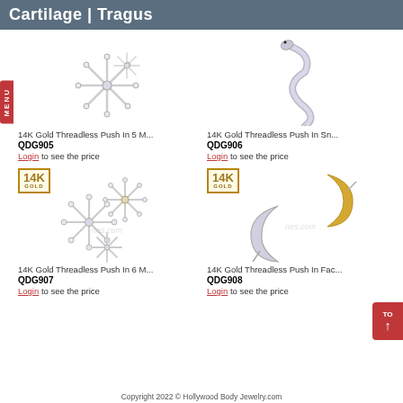Cartilage | Tragus
[Figure (photo): 14K gold threadless push-in 5 petal star/flower jewelry piece, silver tone with crystal accents]
14K Gold Threadless Push In 5 M...
QDG905
Login to see the price
[Figure (photo): 14K gold threadless push-in snake shaped jewelry piece, silver tone]
14K Gold Threadless Push In Sn...
QDG906
Login to see the price
[Figure (photo): 14K gold threadless push-in 6 petal flower jewelry pieces, multiple sizes shown, silver tone with crystal accents, with 14K gold badge]
14K Gold Threadless Push In 6 M...
QDG907
Login to see the price
[Figure (photo): 14K gold threadless push-in faceted crescent moon jewelry pieces, gold and silver tone versions, with 14K gold badge]
14K Gold Threadless Push In Fac...
QDG908
Login to see the price
Copyright 2022 © Hollywood Body Jewelry.com